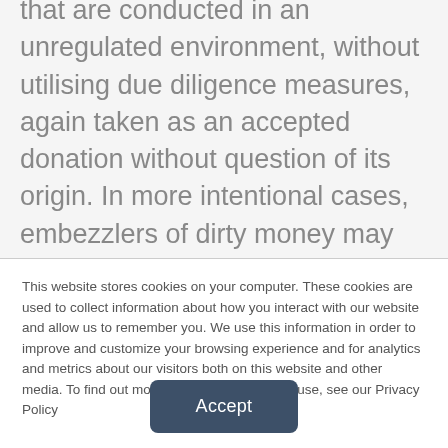that are conducted in an unregulated environment, without utilising due diligence measures, again taken as an accepted donation without question of its origin. In more intentional cases, embezzlers of dirty money may face financial pressure or feel that they should deserve the money due to a lack of pay. Much of the fraud that occurs in churches, for instance, is
This website stores cookies on your computer. These cookies are used to collect information about how you interact with our website and allow us to remember you. We use this information in order to improve and customize your browsing experience and for analytics and metrics about our visitors both on this website and other media. To find out more about the cookies we use, see our Privacy Policy
Accept